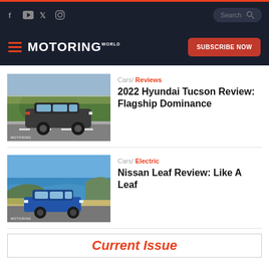Motoring World - Navigation bar with social icons (Facebook, YouTube, Twitter, Instagram) and Search
[Figure (logo): Motoring World logo with hamburger menu and Subscribe Now button]
[Figure (photo): 2022 Hyundai Tucson dark grey SUV driving on road with green hills in background]
Cars/ Reviews
2022 Hyundai Tucson Review: Flagship Dominance
[Figure (photo): Nissan Leaf blue electric car parked by coastal road with ocean and cliffs in background]
Cars/ Electric
Nissan Leaf Review: Like A Leaf
Current Issue